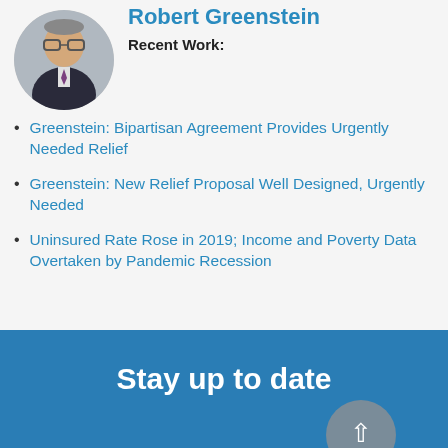[Figure (photo): Circular headshot photo of Robert Greenstein, a man wearing glasses and a dark suit with a purple tie]
Robert Greenstein
Recent Work:
Greenstein: Bipartisan Agreement Provides Urgently Needed Relief
Greenstein: New Relief Proposal Well Designed, Urgently Needed
Uninsured Rate Rose in 2019; Income and Poverty Data Overtaken by Pandemic Recession
Stay up to date